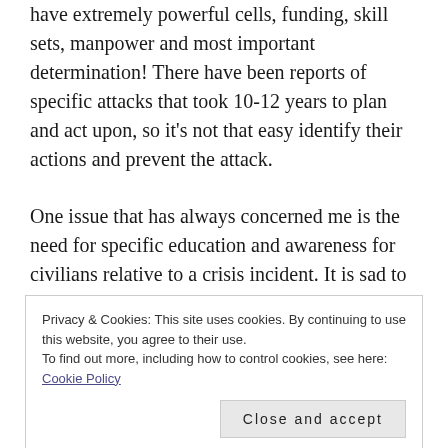have extremely powerful cells, funding, skill sets, manpower and most important determination! There have been reports of specific attacks that took 10-12 years to plan and act upon, so it's not that easy identify their actions and prevent the attack.
One issue that has always concerned me is the need for specific education and awareness for civilians relative to a crisis incident. It is sad to say but we can't ignore the need for teaching civilians how to react during a terrorist attack or even an earthquake. We teach response to a
Privacy & Cookies: This site uses cookies. By continuing to use this website, you agree to their use.
To find out more, including how to control cookies, see here: Cookie Policy
Close and accept
community.